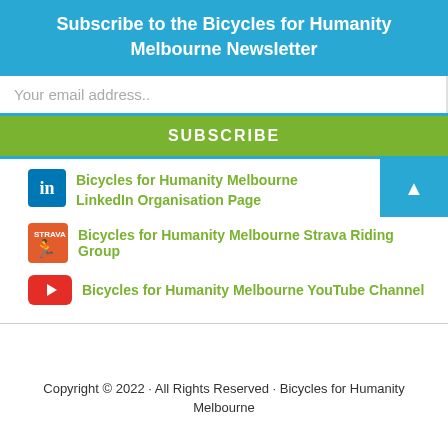Subscribe to the Bicycles for Humanity Melbourne Newsletter
Your email address..
SUBSCRIBE
Bicycles for Humanity Melbourne LinkedIn Organisation Page
Bicycles for Humanity Melbourne Strava Riding Group
Bicycles for Humanity Melbourne YouTube Channel
Copyright © 2022 · All Rights Reserved · Bicycles for Humanity Melbourne